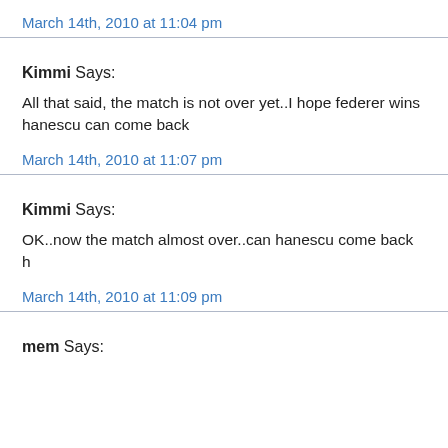March 14th, 2010 at 11:04 pm
Kimmi Says:
All that said, the match is not over yet..I hope federer wins hanescu can come back
March 14th, 2010 at 11:07 pm
Kimmi Says:
OK..now the match almost over..can hanescu come back h
March 14th, 2010 at 11:09 pm
mem Says: